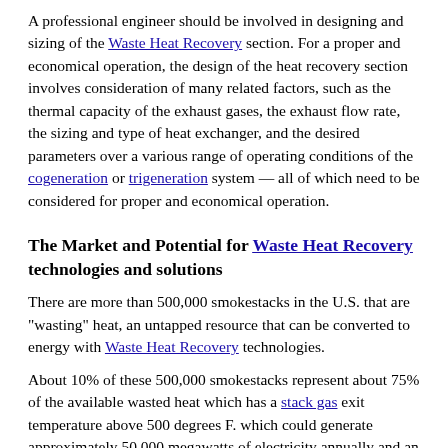A professional engineer should be involved in designing and sizing of the Waste Heat Recovery section. For a proper and economical operation, the design of the heat recovery section involves consideration of many related factors, such as the thermal capacity of the exhaust gases, the exhaust flow rate, the sizing and type of heat exchanger, and the desired parameters over a various range of operating conditions of the cogeneration or trigeneration system — all of which need to be considered for proper and economical operation.
The Market and Potential for Waste Heat Recovery technologies and solutions
There are more than 500,000 smokestacks in the U.S. that are "wasting" heat, an untapped resource that can be converted to energy with Waste Heat Recovery technologies.
About 10% of these 500,000 smokestacks represent about 75% of the available wasted heat which has a stack gas exit temperature above 500 degrees F. which could generate approximately 50,000 megawatts of electricity annually and an annual market of over $75 billion in gross revenues before tax incentives and greenhouse gas emissions credits